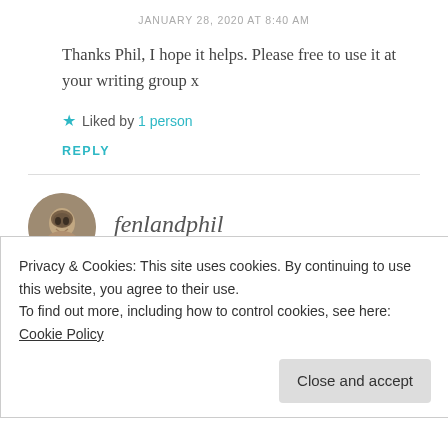JANUARY 28, 2020 AT 8:40 AM
Thanks Phil, I hope it helps. Please free to use it at your writing group x
Liked by 1 person
REPLY
fenlandphil
Privacy & Cookies: This site uses cookies. By continuing to use this website, you agree to their use.
To find out more, including how to control cookies, see here: Cookie Policy
Close and accept
books. I like his writing and he is